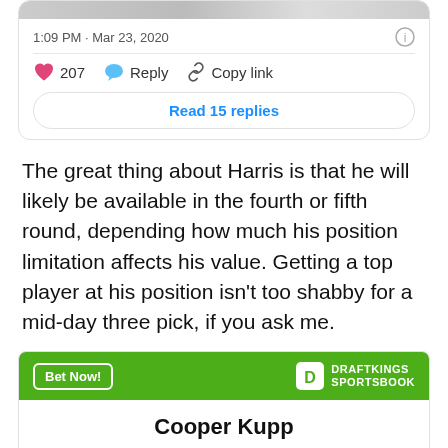[Figure (screenshot): Social media post card showing timestamp 1:09 PM · Mar 23, 2020 with info icon, a divider, action buttons (heart with 207 likes, Reply, Copy link), and a 'Read 15 replies' button]
The great thing about Harris is that he will likely be available in the fourth or fifth round, depending how much his position limitation affects his value. Getting a top player at his position isn't too shabby for a mid-day three pick, if you ask me.
[Figure (screenshot): DraftKings Sportsbook widget showing 'Bet Now!' button, DraftKings Sportsbook logo, player name Cooper Kupp, and a bet row: To win MVP with odds +6000]